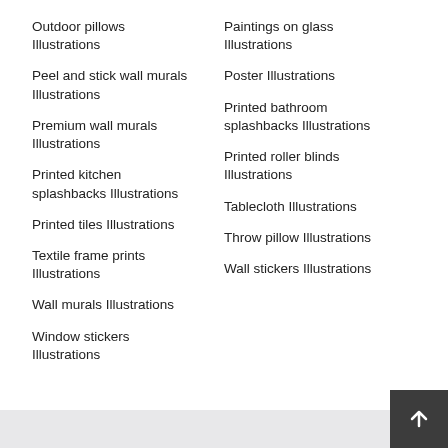Outdoor pillows Illustrations
Paintings on glass Illustrations
Peel and stick wall murals Illustrations
Poster Illustrations
Premium wall murals Illustrations
Printed bathroom splashbacks Illustrations
Printed kitchen splashbacks Illustrations
Printed roller blinds Illustrations
Printed tiles Illustrations
Tablecloth Illustrations
Textile frame prints Illustrations
Throw pillow Illustrations
Wall murals Illustrations
Wall stickers Illustrations
Window stickers Illustrations